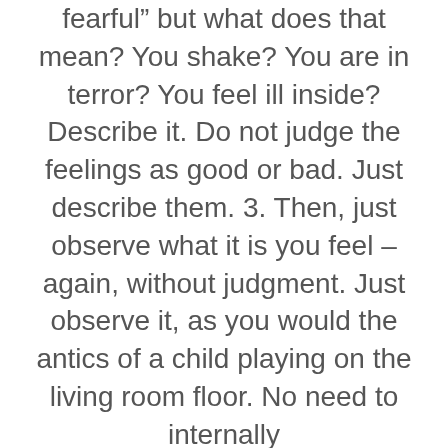fearful” but what does that mean? You shake? You are in terror? You feel ill inside? Describe it. Do not judge the feelings as good or bad. Just describe them. 3. Then, just observe what it is you feel – again, without judgment. Just observe it, as you would the antics of a child playing on the living room floor. No need to internally